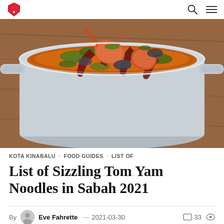Logo and navigation icons (search, menu)
[Figure (photo): A metal pot (balti/karahi) filled with tom yam soup containing prawns/shrimp, dried red chilies, green vegetables, mushrooms, and cilantro, photographed from above on a wooden surface]
KOTA KINABALU · FOOD GUIDES · LIST OF
List of Sizzling Tom Yam Noodles in Sabah 2021
By Eve Fahrette — 2021-03-30   33